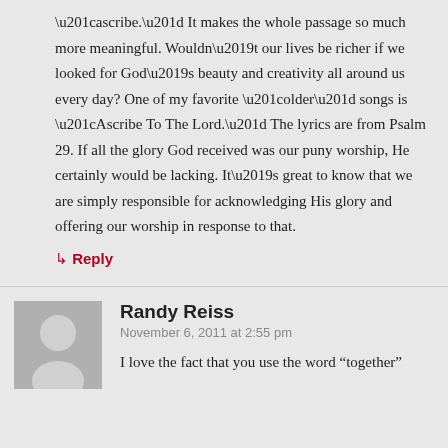“ascribe.” It makes the whole passage so much more meaningful. Wouldn’t our lives be richer if we looked for God’s beauty and creativity all around us every day? One of my favorite “older” songs is “Ascribe To The Lord.” The lyrics are from Psalm 29. If all the glory God received was our puny worship, He certainly would be lacking. It’s great to know that we are simply responsible for acknowledging His glory and offering our worship in response to that.
↳ Reply
Randy Reiss
November 6, 2011 at 2:55 pm
I love the fact that you use the word “together”